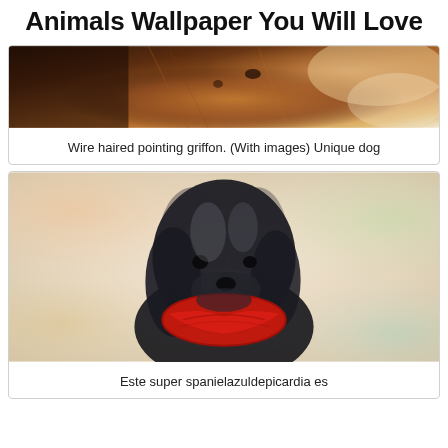Animals Wallpaper You Will Love
[Figure (photo): Close-up photo of a wire haired pointing griffon dog with brown and reddish fur]
Wire haired pointing griffon. (With images) Unique dog
[Figure (photo): Black and white spaniel dog wearing a red bandana collar, on a colorful pastel background]
Este super spanielazuldepicardia es